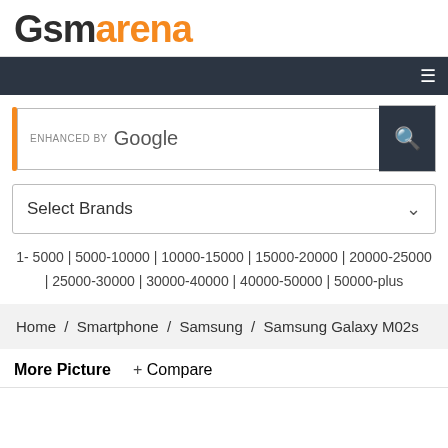[Figure (logo): GSMArena logo with 'GSM' in dark gray and 'ARENA' in orange, bold large text]
ENHANCED BY Google
Select Brands
1- 5000 | 5000-10000 | 10000-15000 | 15000-20000 | 20000-25000 | 25000-30000 | 30000-40000 | 40000-50000 | 50000-plus
Home / Smartphone / Samsung / Samsung Galaxy M02s
More Picture  + Compare